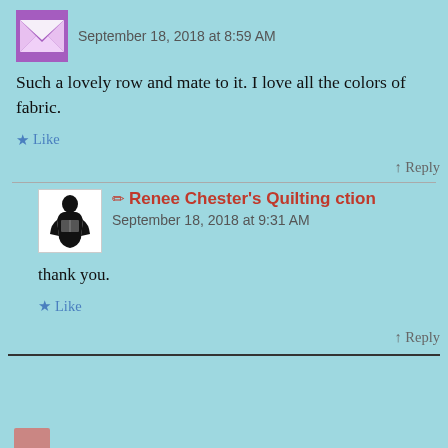[Figure (illustration): Purple envelope/mail icon avatar]
September 18, 2018 at 8:59 AM
Such a lovely row and mate to it. I love all the colors of fabric.
★ Like
↑ Reply
[Figure (illustration): Black silhouette of a person reading/sewing avatar]
✏ Renee Chester's Quilting ction
September 18, 2018 at 9:31 AM
thank you.
★ Like
↑ Reply